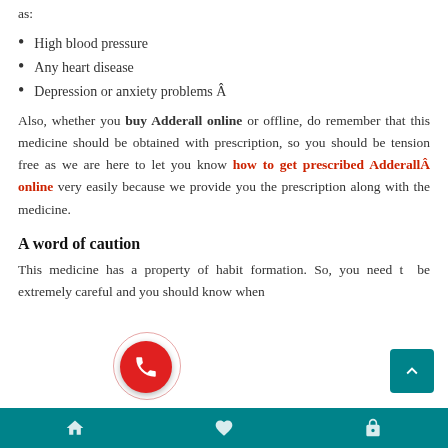as:
High blood pressure
Any heart disease
Depression or anxiety problems Â
Also, whether you buy Adderall online or offline, do remember that this medicine should be obtained with prescription, so you should be tension free as we are here to let you know how to get prescribed AdderallÂ online very easily because we provide you the prescription along with the medicine.
A word of caution
This medicine has a property of habit formation. So, you need to be extremely careful and you should know when